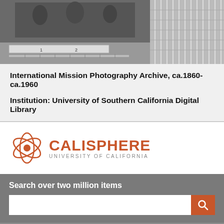[Figure (photo): Two black-and-white archival photographs side by side. Left shows a scene with a ruler/scale bar at bottom. Right shows a figure with grid/stripe overlay.]
International Mission Photography Archive, ca.1860-ca.1960
Institution: University of Southern California Digital Library
[Figure (logo): Calisphere logo — circular orange swirl icon with text CALISPHERE and UNIVERSITY OF CALIFORNIA]
Search over two million items
Home
About Calisphere
Contributing Institutions